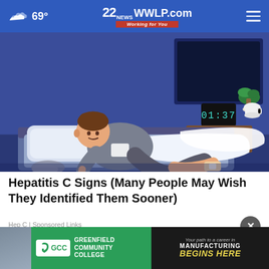69° | 22WWLP.com Working for You
[Figure (illustration): Animated illustration of a man lying in bed at night scratching his leg, with a digital clock showing 01:37 on the nightstand]
Hepatitis C Signs (Many People May Wish They Identified Them Sooner)
Hep C | Sponsored Links
[Figure (infographic): Advertisement for Greenfield Community College (GCC) — left half green with GCC logo and text 'GREENFIELD COMMUNITY COLLEGE'; right half dark with text 'Your path to a career in MANUFACTURING BEGINS HERE']